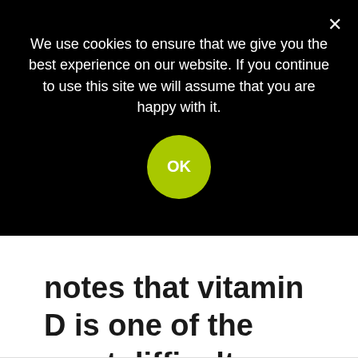We use cookies to ensure that we give you the best experience on our website. If you continue to use this site we will assume that you are happy with it.
OK
notes that vitamin D is one of the most difficult nutrients to get in adequate amounts from our diets.